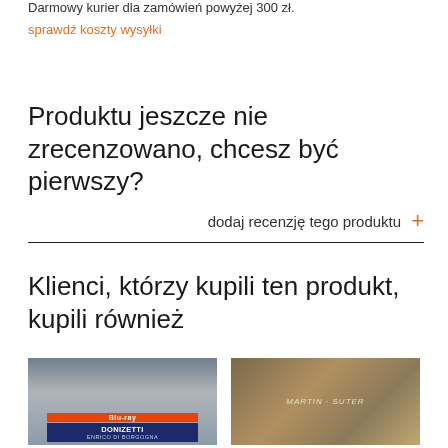Darmowy kurier dla zamówień powyżej 300 zł.
sprawdź koszty wysyłki
Produktu jeszcze nie zrecenzowano, chcesz być pierwszy?
dodaj recenzję tego produktu +
Klienci, którzy kupili ten produkt, kupili również
[Figure (photo): Thumbnail of Donizetti Enrico di Borgogna Blu-ray product]
[Figure (photo): Thumbnail of Martin Suter book product]